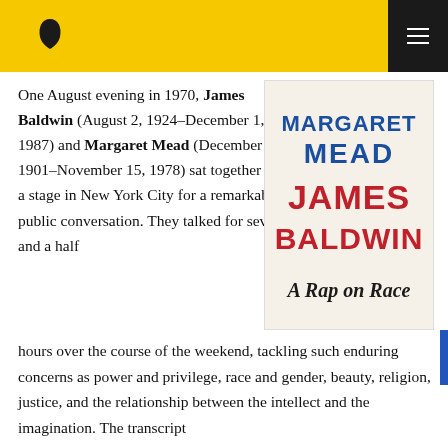Vintage Books logo and navigation
One August evening in 1970, James Baldwin (August 2, 1924–December 1, 1987) and Margaret Mead (December 16, 1901–November 15, 1978) sat together on a stage in New York City for a remarkable public conversation. They talked for seven and a half hours over the course of the weekend, tackling such enduring concerns as power and privilege, race and gender, beauty, religion, justice, and the relationship between the intellect and the imagination. The transcript
[Figure (photo): Book cover of 'A Rap on Race' by Margaret Mead and James Baldwin. White background with 'MARGARET MEAD' in blue bold text, 'JAMES BALDWIN' in red bold text, and 'A Rap on Race' in black serif italic text.]